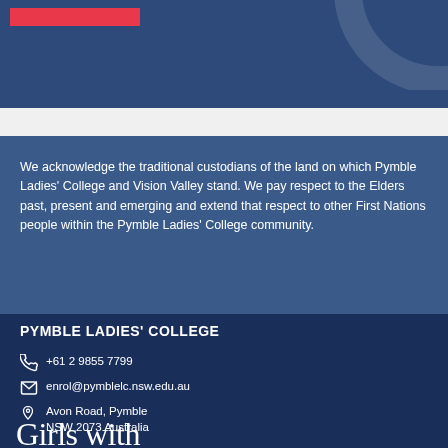[Figure (logo): Red bar logo element on dark blue background with circular decoration]
We acknowledge the traditional custodians of the land on which Pymble Ladies' College and Vision Valley stand. We pay respect to the Elders past, present and emerging and extend that respect to other First Nations people within the Pymble Ladies' College community.
PYMBLE LADIES' COLLEGE
+61 2 9855 7799
enrol@pymblelc.nsw.edu.au
Avon Road, Pymble
NSW 2073 Australia
Girls with